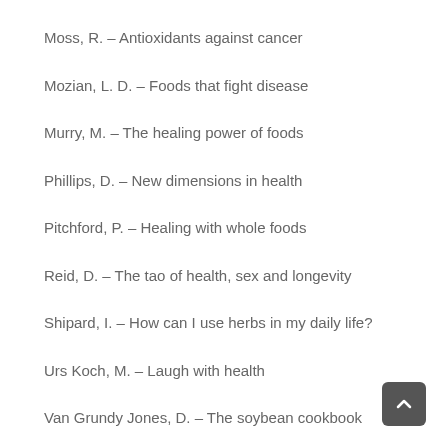Moss, R. – Antioxidants against cancer
Mozian, L. D. – Foods that fight disease
Murry, M. – The healing power of foods
Phillips, D. – New dimensions in health
Pitchford, P. – Healing with whole foods
Reid, D. – The tao of health, sex and longevity
Shipard, I. – How can I use herbs in my daily life?
Urs Koch, M. – Laugh with health
Van Grundy Jones, D. – The soybean cookbook